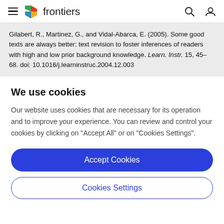frontiers
Gilabert, R., Martinez, G., and Vidal-Abarca, E. (2005). Some good texts are always better: text revision to foster inferences of readers with high and low prior background knowledge. Learn. Instr. 15, 45–68. doi: 10.1016/j.learninstruc.2004.12.003
We use cookies
Our website uses cookies that are necessary for its operation and to improve your experience. You can review and control your cookies by clicking on "Accept All" or on "Cookies Settings".
Accept Cookies
Cookies Settings